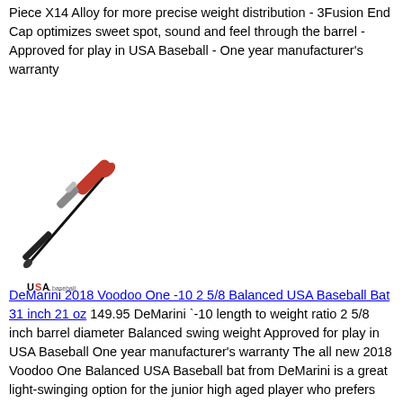Piece X14 Alloy for more precise weight distribution - 3Fusion End Cap optimizes sweet spot, sound and feel through the barrel - Approved for play in USA Baseball - One year manufacturer's warranty
[Figure (photo): DeMarini baseball bat with red and black coloring, shown diagonally, with USA Baseball logo below]
DeMarini 2018 Voodoo One -10 2 5/8 Balanced USA Baseball Bat 31 inch 21 oz 149.95 DeMarini `-10 length to weight ratio 2 5/8 inch barrel diameter Balanced swing weight Approved for play in USA Baseball One year manufacturer's warranty The all new 2018 Voodoo One Balanced USA Baseball bat from DeMarini is a great light-swinging option for the junior high aged player who prefers the feel of a one-piece aluminum bat. DeMarini's X14 Alloy allows for more precise weight distribution and the 3Fusion End Cap optimizes the bat's sweet spot for a sound and feel that players love. New for the 2018 season, these bats are certified for all USA Baseball play. Comes with a 1 year manufacturer's warranty from DeMarini. - -10 length to weight ratio - 2 5/8 inch barrel diameter - Balanced swing weight - One